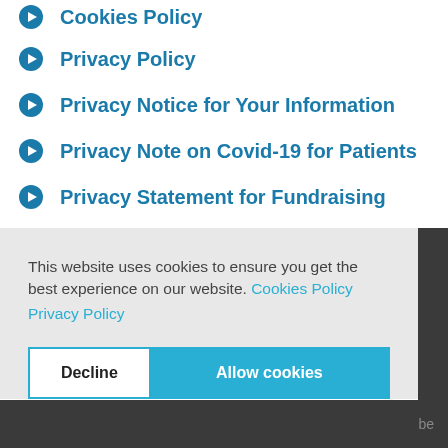Cookies Policy
Privacy Policy
Privacy Notice for Your Information
Privacy Note on Covid-19 for Patients
Privacy Statement for Fundraising
Accessibility Statement
This website uses cookies to ensure you get the best experience on our website. Cookies Policy Privacy Policy
Decline  Allow cookies